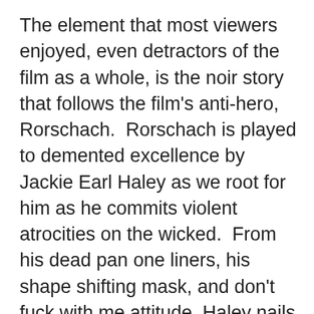The element that most viewers enjoyed, even detractors of the film as a whole, is the noir story that follows the film's anti-hero, Rorschach.  Rorschach is played to demented excellence by Jackie Earl Haley as we root for him as he commits violent atrocities on the wicked.  From his dead pan one liners, his shape shifting mask, and don't fuck with me attitude, Haley nails the character as he investigates the murder of The Comedian, a fellow Watchmen, and warns his ex-partners in fighting crime.  Rorschach is one of comics' greatest characters and I think Haley and Snyder to the character justice.  The characters fate is heartbreaking as well as he is a sacrifice for the good of the planet as he